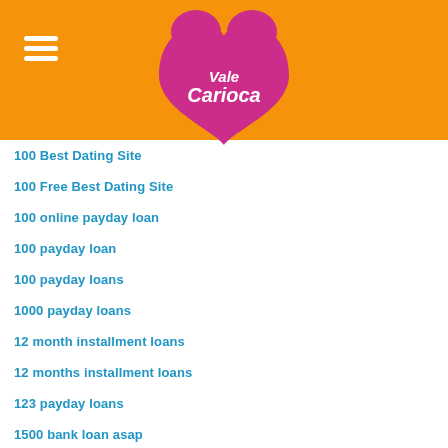[Figure (logo): Vale Carioca logo — pink heart shape with white stylized text 'Vale Carioca' inside, on orange background with hamburger menu icon]
100 Best Dating Site
100 Free Best Dating Site
100 online payday loan
100 payday loan
100 payday loans
1000 payday loans
12 month installment loans
12 months installment loans
123 payday loans
1500 bank loan asap
1500 dollar loan today
1800 payday loans
1st payday loan
1st payday loans